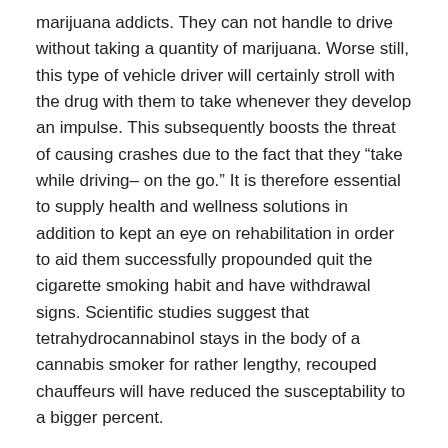marijuana addicts. They can not handle to drive without taking a quantity of marijuana. Worse still, this type of vehicle driver will certainly stroll with the drug with them to take whenever they develop an impulse. This subsequently boosts the threat of causing crashes due to the fact that they “take while driving– on the go.” It is therefore essential to supply health and wellness solutions in addition to kept an eye on rehabilitation in order to aid them successfully propounded quit the cigarette smoking habit and have withdrawal signs. Scientific studies suggest that tetrahydrocannabinol stays in the body of a cannabis smoker for rather lengthy, recouped chauffeurs will have reduced the susceptability to a bigger percent.
It is likewise necessary to increase social acceptance among smokers vehicle drivers to relieve depression-related repercussions. Anxiety and state of mind swings are the main effects of making use of cannabis. A depressed driver will most likely cause a mishap practically daily. Creating a sense